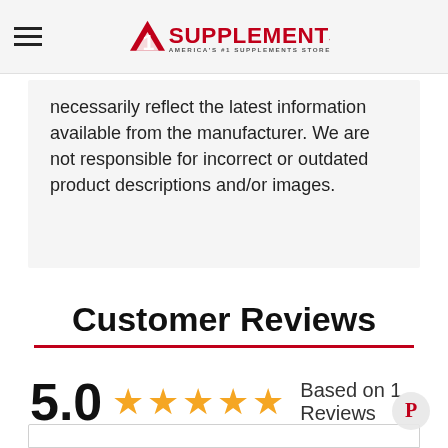A1 Supplements — America's #1 Supplements Store
necessarily reflect the latest information available from the manufacturer. We are not responsible for incorrect or outdated product descriptions and/or images.
Customer Reviews
5.0  ★★★★★  Based on 1 Reviews